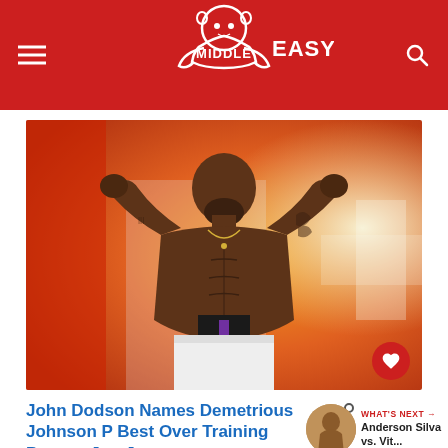MIDDLE EASY
[Figure (photo): Muscular male MMA fighter flexing both arms in a double bicep pose at a weigh-in, shirtless with tattoos, in front of a colorful orange/red background with a scale visible]
John Dodson Names Demetrious Johnson P Best Over Training Partner Jon Jones
WHAT'S NEXT → Anderson Silva vs. Vit...